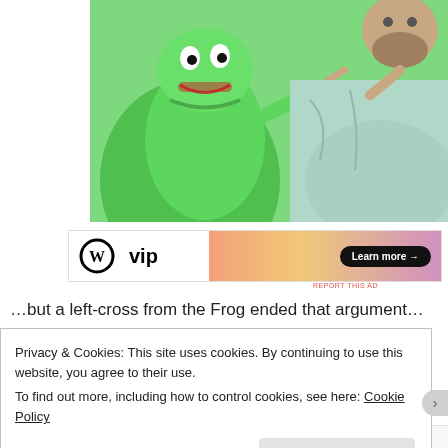[Figure (photo): Photo of Kermit the Frog puppet and a man in a mint green shirt, Kermit pointing at the man against a green background]
[Figure (other): WordPress VIP advertisement banner with 'W vip' logo on left and 'Learn more →' button on pink/peach gradient right side]
REPORT THIS AD
…but a left-cross from the Frog ended that argument…
Privacy & Cookies: This site uses cookies. By continuing to use this website, you agree to their use.
To find out more, including how to control cookies, see here: Cookie Policy
Close and accept